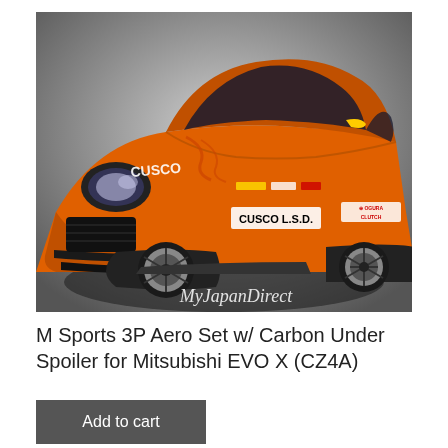[Figure (photo): Orange Mitsubishi EVO X (CZ4A) race car with various sponsor decals including CUSCO L.S.D., Ogura Clutch, and other racing sponsors. The car has an aggressive aero kit. MyJapanDirect watermark on bottom right of image.]
M Sports 3P Aero Set w/ Carbon Under Spoiler for Mitsubishi EVO X (CZ4A)
Add to cart